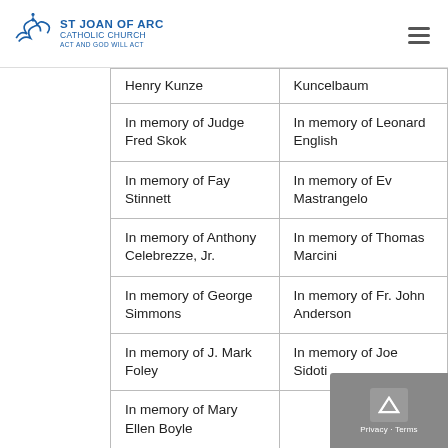St Joan of Arc Catholic Church — Act and God Will Act
| Column 1 | Column 2 |
| --- | --- |
| Henry Kunze | Kuncelbaum |
| In memory of Judge Fred Skok | In memory of Leonard English |
| In memory of Fay Stinnett | In memory of Ev Mastrangelo |
| In memory of Anthony Celebrezze, Jr. | In memory of Thomas Marcini |
| In memory of George Simmons | In memory of Fr. John Anderson |
| In memory of J. Mark Foley | In memory of Joe Sidoti |
| In memory of Mary Ellen Boyle |  |